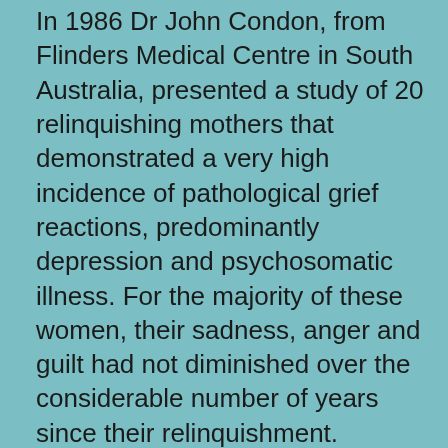In 1986 Dr John Condon, from Flinders Medical Centre in South Australia, presented a study of 20 relinquishing mothers that demonstrated a very high incidence of pathological grief reactions, predominantly depression and psychosomatic illness. For the majority of these women, their sadness, anger and guilt had not diminished over the considerable number of years since their relinquishment.
Condon also found that half the women had become excessively overprotective with subsequent children. He suggests that this overprotectiveness is part of the phenomenon of unresolved grief. He also suggests that the relatively high incidence of pregnancy during